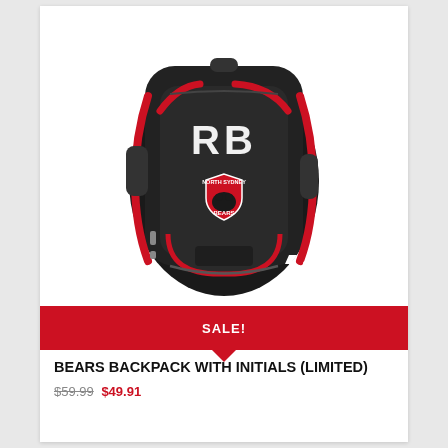[Figure (photo): Black and red Sinalli Bears backpack with 'RB' initials embroidered in white on the front, and a North Sydney Bears shield logo below the initials. The backpack has red zipper accents and a Sinalli logo on the lower right.]
SALE!
BEARS BACKPACK WITH INITIALS (LIMITED)
$59.99 → $49.91